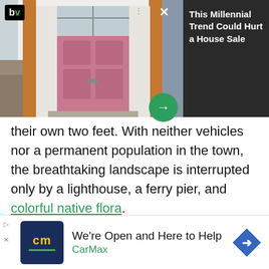[Figure (screenshot): Advertisement overlay showing a house with a pink door. Left side shows the house photo. Right side is a dark panel with 'bv' logo (black background, green letters) and white text reading 'This Millennial Trend Could Hurt a House Sale'. A green circle with a right arrow is overlaid on the image. A green bar and three dots menu are also visible.]
their own two feet. With neither vehicles nor a permanent population in the town, the breathtaking landscape is interrupted only by a lighthouse, a ferry pier, and colorful native flora.
Related: The 20 Best Town Mottoes from East to West
[Figure (other): CarMax advertisement: 'We're Open and Here to Help' with CarMax logo (dark blue box with yellow 'cm' letters and green bar) and a blue diamond-shaped navigation icon. Text shows 'CarMax' in green.]